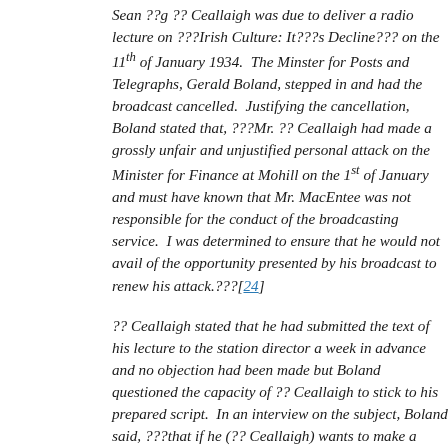Sean ??g ?? Ceallaigh was due to deliver a radio lecture on ???Irish Culture: It???s Decline??? on the 11th of January 1934.  The Minster for Posts and Telegraphs, Gerald Boland, stepped in and had the broadcast cancelled.  Justifying the cancellation, Boland stated that, ???Mr. ?? Ceallaigh had made a grossly unfair and unjustified personal attack on the Minister for Finance at Mohill on the 1st of January and must have known that Mr. MacEntee was not responsible for the conduct of the broadcasting service.  I was determined to ensure that he would not avail of the opportunity presented by his broadcast to renew his attack.???[24]
?? Ceallaigh stated that he had submitted the text of his lecture to the station director a week in advance and no objection had been made but Boland questioned the capacity of ?? Ceallaigh to stick to his prepared script.  In an interview on the subject, Boland said, ???that if he (?? Ceallaigh) wants to make a personal attack on a